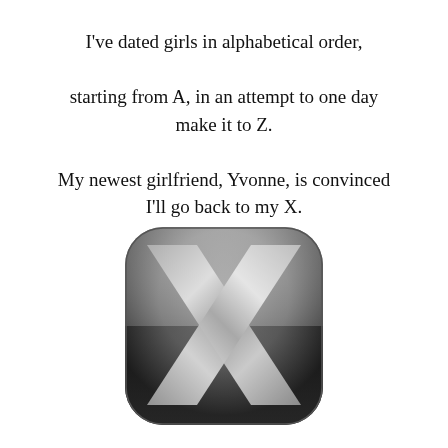I've dated girls in alphabetical order, starting from A, in an attempt to one day make it to Z. My newest girlfriend, Yvonne, is convinced I'll go back to my X.
[Figure (illustration): Grayscale rounded-square icon resembling the Mac OS X logo with a large metallic X letter on a dark-to-light gradient background.]